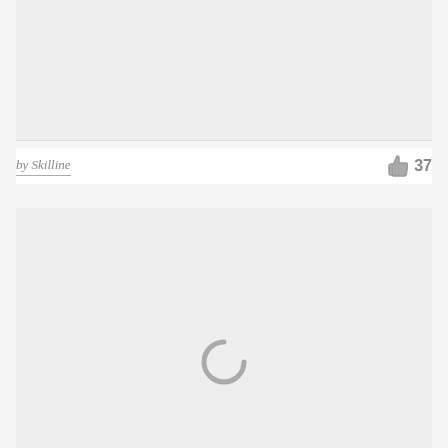[Figure (other): Gray image placeholder block at top of page]
by Skilline
37
[Figure (other): Gray image placeholder block at bottom of page with loading spinner]